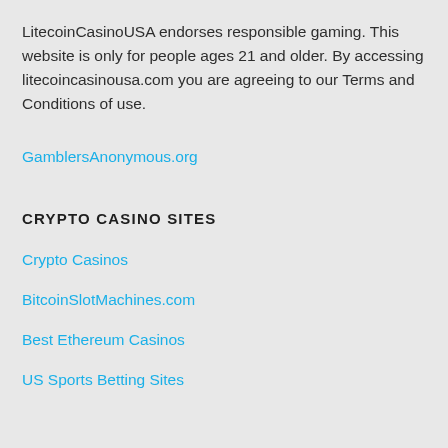LitecoinCasinoUSA endorses responsible gaming. This website is only for people ages 21 and older. By accessing litecoincasinousa.com you are agreeing to our Terms and Conditions of use.
GamblersAnonymous.org
CRYPTO CASINO SITES
Crypto Casinos
BitcoinSlotMachines.com
Best Ethereum Casinos
US Sports Betting Sites